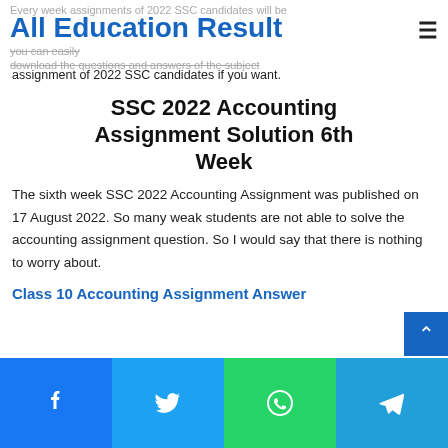All Education Result
Every week assignments of 2022 SSC candidates will be published here so you can easily download the questions and answers of the subject assignment of 2022 SSC candidates if you want.
SSC 2022 Accounting Assignment Solution 6th Week
The sixth week SSC 2022 Accounting Assignment was published on 17 August 2022. So many weak students are not able to solve the accounting assignment question. So I would say that there is nothing to worry about.
Class 10 Accounting Assignment Answer